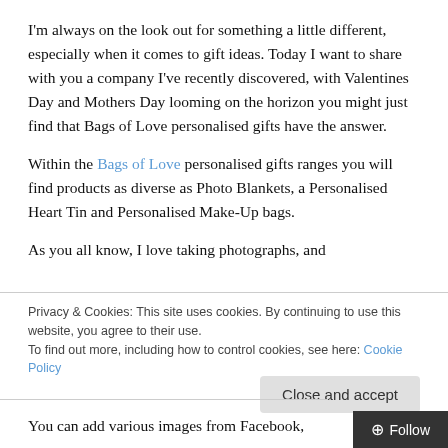I'm always on the look out for something a little different, especially when it comes to gift ideas. Today I want to share with you a company I've recently discovered, with Valentines Day and Mothers Day looming on the horizon you might just find that Bags of Love personalised gifts have the answer.
Within the Bags of Love personalised gifts ranges you will find products as diverse as Photo Blankets, a Personalised Heart Tin and Personalised Make-Up bags.
As you all know, I love taking photographs, and
Privacy & Cookies: This site uses cookies. By continuing to use this website, you agree to their use.
To find out more, including how to control cookies, see here: Cookie Policy
Close and accept
You can add various images from Facebook,
+ Follow